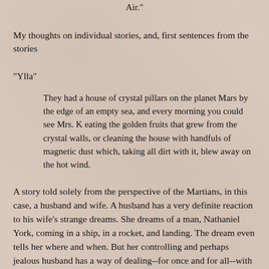Air."
My thoughts on individual stories, and, first sentences from the stories
"Ylla"
They had a house of crystal pillars on the planet Mars by the edge of an empty sea, and every morning you could see Mrs. K eating the golden fruits that grew from the crystal walls, or cleaning the house with handfuls of magnetic dust which, taking all dirt with it, blew away on the hot wind.
A story told solely from the perspective of the Martians, in this case, a husband and wife. A husband has a very definite reaction to his wife's strange dreams. She dreams of a man, Nathaniel York, coming in a ship, in a rocket, and landing. The dream even tells her where and when. But her controlling and perhaps jealous husband has a way of dealing--for once and for all--with his wife's dreams.